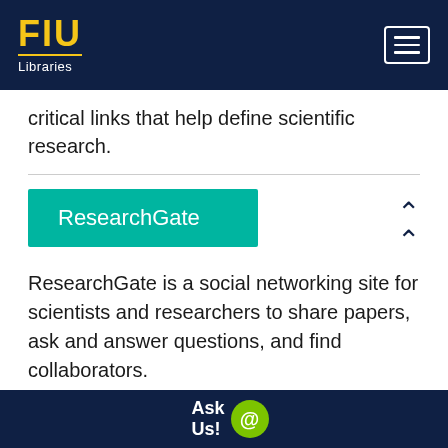FIU Libraries
critical links that help define scientific research.
ResearchGate
ResearchGate is a social networking site for scientists and researchers to share papers, ask and answer questions, and find collaborators.
Ask Us!